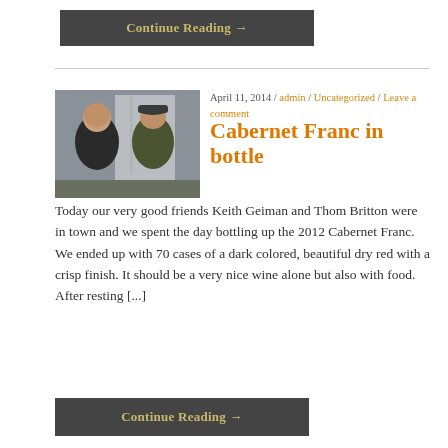Continue Reading →
[Figure (photo): Two men standing indoors, one in a dark hoodie and one in an olive jacket and cap, in what appears to be a winery or industrial space]
April 11, 2014 / admin / Uncategorized / Leave a comment
Cabernet Franc in bottle
Today our very good friends Keith Geiman and Thom Britton were in town and we spent the day bottling up the 2012 Cabernet Franc. We ended up with 70 cases of a dark colored, beautiful dry red with a crisp finish. It should be a very nice wine alone but also with food. After resting [...]
Continue Reading →